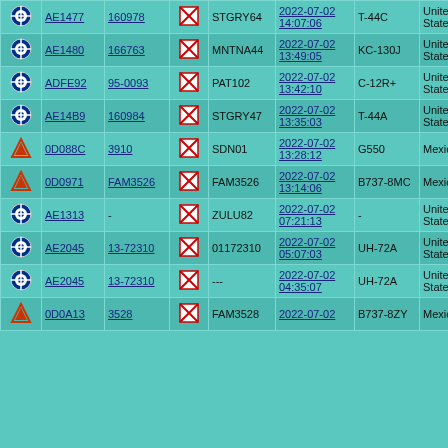|  | Hex | Reg |  | Callsign | Date/Time | A/C Type | Country | Owner/Operator |
| --- | --- | --- | --- | --- | --- | --- | --- | --- |
| [US icon] | AE1477 | 160978 | [sq] | STGRY64 | 2022-07-02 14:07:06 | T-44C | United States | USN | TW-4 | VT-31 [KNGP] |
| [US icon] | AE1480 | 166763 | [sq] | MNTNA44 | 2022-07-02 13:49:05 | KC-130J | United States | USMC | VMGR-152 [RJOI] |
| [US icon] | ADFE92 | 95-0093 | [sq] | PAT102 | 2022-07-02 13:42:10 | C-12R+ | United States | USARC | C/6-52 AVN (TA) [KSL... |
| [US icon] | AE14B9 | 160984 | [sq] | STGRY47 | 2022-07-02 13:35:03 | T-44A | United States | USN | TW-4 | VT-31 [KNGP] |
| [Mex icon] | 0D088C | 3910 | [sq] | SDN01 | 2022-07-02 13:28:12 | G550 | Mexico | Fuerza Aerea Mexicana |
| [Mex icon] | 0D0971 | FAM3526 | [sq] | FAM3526 | 2022-07-02 13:14:06 | B737-8MC | Mexico | Fuerza Aerea Mexicana |
| [US icon] | AE1313 | - | [sq] | ZULU82 | 2022-07-02 07:21:13 | - | United States | - |
| [US icon] | AE2045 | 13-72310 | [sq] | 01172310 | 2022-07-02 05:07:03 | UH-72A | United States | US Army | |
| [US icon] | AE2045 | 13-72310 | [sq] | --- | 2022-07-02 04:35:07 | UH-72A | United States | US Army | |
| [Mex icon] | 0D0A13 | 3528 | [sq] | FAM3528 | 2022-07-02 | B737-8ZY | Mexico | Mexican Air Force |